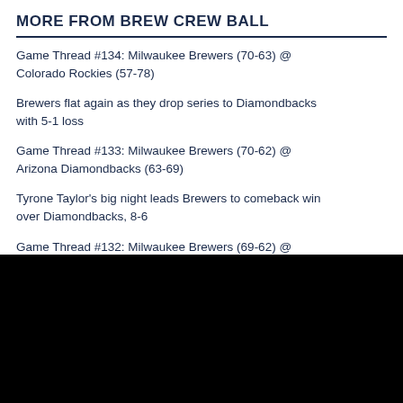MORE FROM BREW CREW BALL
Game Thread #134: Milwaukee Brewers (70-63) @ Colorado Rockies (57-78)
Brewers flat again as they drop series to Diamondbacks with 5-1 loss
Game Thread #133: Milwaukee Brewers (70-62) @ Arizona Diamondbacks (63-69)
Tyrone Taylor's big night leads Brewers to comeback win over Diamondbacks, 8-6
Game Thread #132: Milwaukee Brewers (69-62) @ Arizona Diamondbacks (63-68)
Brewers drop low-scoring affair to Diamondbacks, 2-1
[Figure (photo): Black rectangle, likely a video player or image placeholder at the bottom of the page]